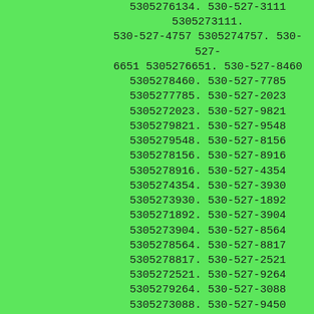5305276134. 530-527-3111 5305273111. 530-527-4757 5305274757. 530-527-6651 5305276651. 530-527-8460 5305278460. 530-527-7785 5305277785. 530-527-2023 5305272023. 530-527-9821 5305279821. 530-527-9548 5305279548. 530-527-8156 5305278156. 530-527-8916 5305278916. 530-527-4354 5305274354. 530-527-3930 5305273930. 530-527-1892 5305271892. 530-527-3904 5305273904. 530-527-8564 5305278564. 530-527-8817 5305278817. 530-527-2521 5305272521. 530-527-9264 5305279264. 530-527-3088 5305273088. 530-527-9450 5305279450. 530-527-8739 5305278739. 530-527-9429 5305279429. 530-527-7493 5305277493. 530-527-9836 5305279836. 530-527-8696 5305278696. 530-527-8287 5305278287. 530-527-8684